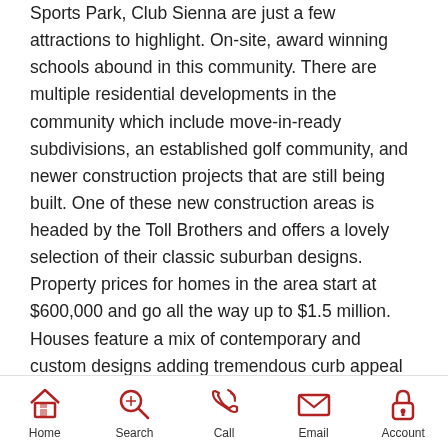Sports Park, Club Sienna are just a few attractions to highlight. On-site, award winning schools abound in this community. There are multiple residential developments in the community which include move-in-ready subdivisions, an established golf community, and newer construction projects that are still being built. One of these new construction areas is headed by the Toll Brothers and offers a lovely selection of their classic suburban designs. Property prices for homes in the area start at $600,000 and go all the way up to $1.5 million. Houses feature a mix of contemporary and custom designs adding tremendous curb appeal and character to each subdivision. Most
Home  Search  Call  Email  Account